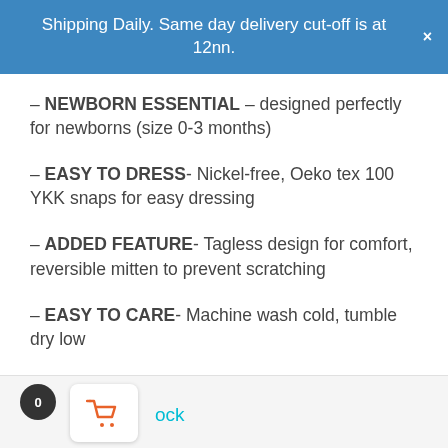Shipping Daily. Same day delivery cut-off is at 12nn.
– NEWBORN ESSENTIAL – designed perfectly for newborns (size 0-3 months)
– EASY TO DRESS- Nickel-free, Oeko tex 100 YKK snaps for easy dressing
– ADDED FEATURE- Tagless design for comfort, reversible mitten to prevent scratching
– EASY TO CARE- Machine wash cold, tumble dry low